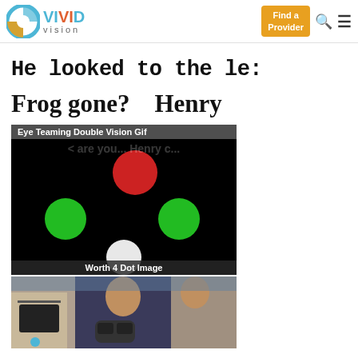[Figure (logo): Vivid Vision logo with circular icon and text]
He looked to the le:
Frog gone?    Henry
[Figure (illustration): Eye Teaming Double Vision Gif label overlaid on image showing worth 4 dot test image with red circle at top, two green circles in middle, white circle at bottom on black background. Caption: Worth 4 Dot Image]
[Figure (photo): Photo of people at what appears to be an event or demonstration, one person in black t-shirt holding VR headset]